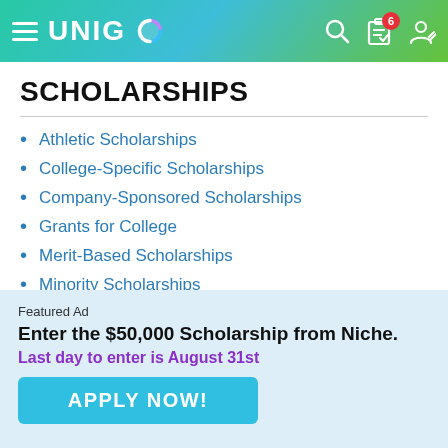UNIGO
SCHOLARSHIPS
Athletic Scholarships
College-Specific Scholarships
Company-Sponsored Scholarships
Grants for College
Merit-Based Scholarships
Minority Scholarships
Our Scholarships
Scholarship Contests & Sweepstakes
Scholarships By Major
Scholarships By State
Featured Ad
Enter the $50,000 Scholarship from Niche.
Last day to enter is August 31st
APPLY NOW!